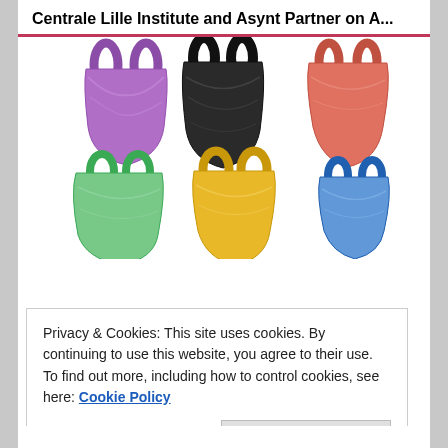Centrale Lille Institute and Asynt Partner on A...
[Figure (photo): Six colorful plastic shopping bags arranged in two rows: top row has purple, black, and red/orange bags; bottom row has green, yellow/gold, and blue bags, on white background.]
Privacy & Cookies: This site uses cookies. By continuing to use this website, you agree to their use.
To find out more, including how to control cookies, see here: Cookie Policy
Close and accept